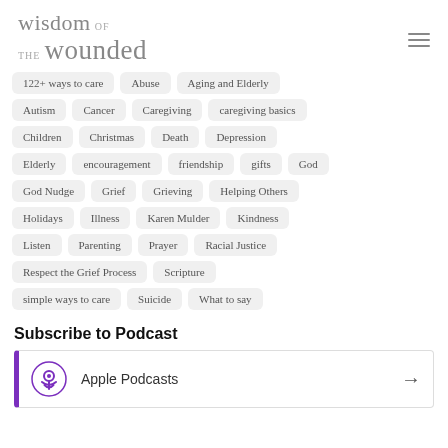[Figure (logo): Wisdom of the Wounded logo text in gray serif font]
122+ ways to care
Abuse
Aging and Elderly
Autism
Cancer
Caregiving
caregiving basics
Children
Christmas
Death
Depression
Elderly
encouragement
friendship
gifts
God
God Nudge
Grief
Grieving
Helping Others
Holidays
Illness
Karen Mulder
Kindness
Listen
Parenting
Prayer
Racial Justice
Respect the Grief Process
Scripture
simple ways to care
Suicide
What to say
Subscribe to Podcast
Apple Podcasts